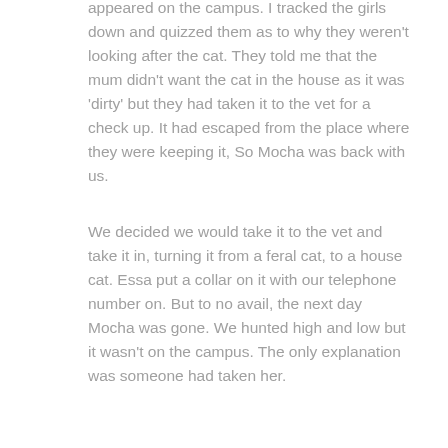appeared on the campus.  I tracked the girls down and quizzed them as to why they weren't looking after the cat. They told me that the mum didn't want the cat in the house as it was 'dirty'  but they had taken it to the vet for a check up.  It had escaped from the place where they were keeping it,  So Mocha was back with us.
We decided we would take it to the vet and take it in, turning it from a feral cat, to a house cat. Essa put a collar on it with our telephone number on. But to no avail, the next day Mocha was gone. We hunted high and low but it wasn't on the campus. The only explanation was someone had taken her.